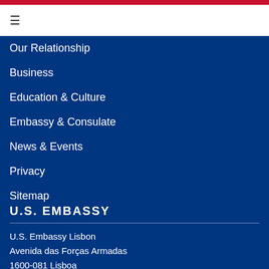☰
Our Relationship
Business
Education & Culture
Embassy & Consulate
News & Events
Privacy
Sitemap
U.S. EMBASSY
U.S. Embassy Lisbon
Avenida das Forças Armadas
1600-081 Lisboa
Phone: 351 21 727 3300